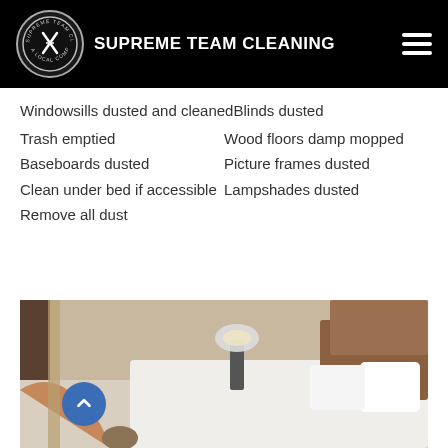SUPREME TEAM CLEANING
Windowsills dusted and cleanedBlinds dusted
Trash emptied
Wood floors damp mopped
Baseboards dusted
Picture frames dusted
Clean under bed if accessible
Lampshades dusted
Remove all dust
[Figure (photo): Hotel room bed being made by a maid, with white bedding and a lamp visible in background]